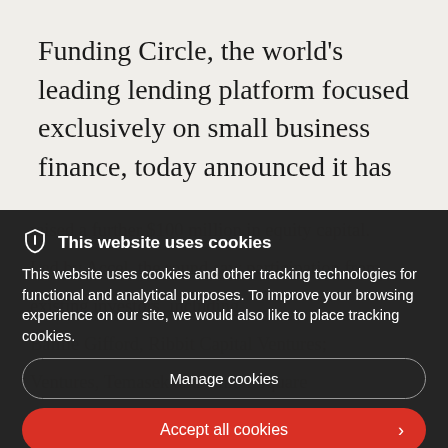Funding Circle, the world's leading lending platform focused exclusively on small business finance, today announced it has
raised a further $100 million in equity capital. Led by Accel, the round saw participation from existing investors, including, Baillie Gifford, Ribbit Capital Ventures, Temasek and Union Square Ventures.
This website uses cookies
This website uses cookies and other tracking technologies for functional and analytical purposes. To improve your browsing experience on our site, we would also like to place tracking cookies.
Manage cookies
Accept all cookies
The new investment follows significant growth at Funding Circle over the last 12